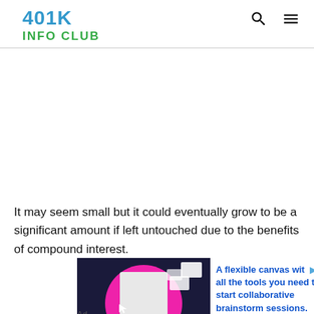401K INFO CLUB
It may seem small but it could eventually grow to be a significant amount if left untouched due to the benefits of compound interest.
[Figure (photo): Advertisement image showing a person at a dark background with a pink circle, white card shapes floating around, accompanied by text 'A flexible canvas with all the tools you need to start collaborative brainstorm sessions.' with an Ad label below.]